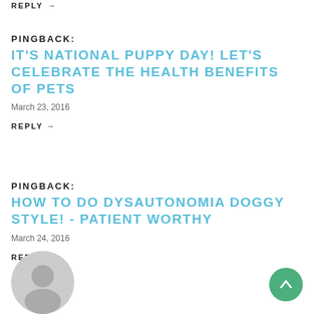REPLY →
PINGBACK:
IT'S NATIONAL PUPPY DAY! LET'S CELEBRATE THE HEALTH BENEFITS OF PETS
March 23, 2016
REPLY →
PINGBACK:
HOW TO DO DYSAUTONOMIA DOGGY STYLE! - PATIENT WORTHY
March 24, 2016
REPLY →
[Figure (illustration): Gray user avatar circle icon at bottom left]
[Figure (illustration): Green circular scroll-to-top button with white upward arrow at bottom right]